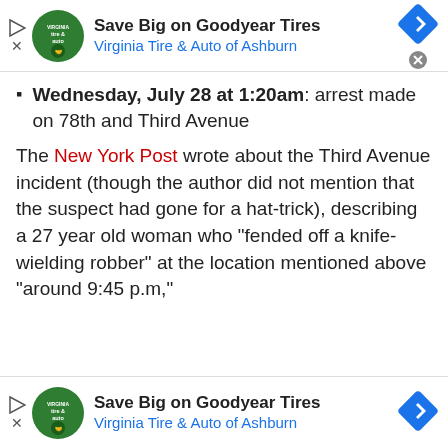[Figure (other): Advertisement banner: Save Big on Goodyear Tires - Virginia Tire & Auto of Ashburn (top)]
Wednesday, July 28 at 1:20am: arrest made on 78th and Third Avenue
The New York Post wrote about the Third Avenue incident (though the author did not mention that the suspect had gone for a hat-trick), describing a 27 year old woman who “fended off a knife-wielding robber” at the location mentioned above “around 9:45 p.m,”
[Figure (other): Advertisement banner: Save Big on Goodyear Tires - Virginia Tire & Auto of Ashburn (bottom)]